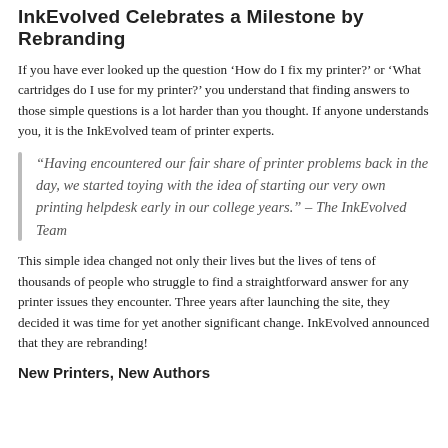InkEvolved Celebrates a Milestone by Rebranding
If you have ever looked up the question ‘How do I fix my printer?’ or ‘What cartridges do I use for my printer?’ you understand that finding answers to those simple questions is a lot harder than you thought. If anyone understands you, it is the InkEvolved team of printer experts.
“Having encountered our fair share of printer problems back in the day, we started toying with the idea of starting our very own printing helpdesk early in our college years.” – The InkEvolved Team
This simple idea changed not only their lives but the lives of tens of thousands of people who struggle to find a straightforward answer for any printer issues they encounter. Three years after launching the site, they decided it was time for yet another significant change. InkEvolved announced that they are rebranding!
New Printers, New Authors